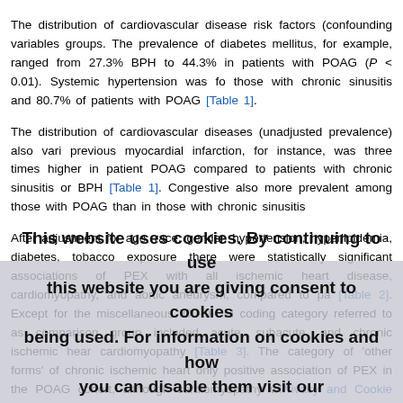The distribution of cardiovascular disease risk factors (confounding variables groups. The prevalence of diabetes mellitus, for example, ranged from 27.3% BPH to 44.3% in patients with POAG (P < 0.01). Systemic hypertension was fo those with chronic sinusitis and 80.7% of patients with POAG [Table 1].
The distribution of cardiovascular diseases (unadjusted prevalence) also vari previous myocardial infarction, for instance, was three times higher in patient POAG compared to patients with chronic sinusitis or BPH [Table 1]. Congestive also more prevalent among those with POAG than in those with chronic sinusitis
After adjustment for age, race, gender, hypertension, hyperlipidemia, diabetes, tobacco exposure there were statistically significant associations of PEX with all ischemic heart disease, cardiomyopathy, and aortic aneurysm, compared to pa [Table 2]. Except for the miscellaneous ICD-9-CM coding category referred to as comparison group included acute, subacute, and chronic ischemic hear cardiomyopathy [Table 3]. The category of 'other forms' of chronic ischemic heart only positive association of PEX in the POAG cohort, although cardiomyopathy w of the lens capsule [Table 4]. This relatively ill-de category, usually identified patients with signs of structural coronary artery diseas artery calcification or vascular narrowing on angiography), who did not fit in coronary artery syndrome diagnosis.
The single strongest correlation was with cardiomyopathy (OR 2.60 99% CI 1.5 with the BPH comparison group. The plots analysis figures also with